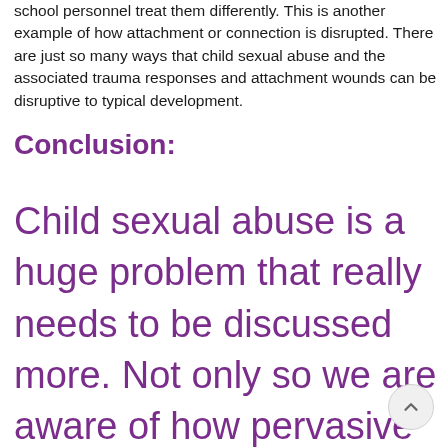school personnel treat them differently. This is another example of how attachment or connection is disrupted. There are just so many ways that child sexual abuse and the associated trauma responses and attachment wounds can be disruptive to typical development.
Conclusion:
Child sexual abuse is a huge problem that really needs to be discussed more. Not only so we are aware of how pervasive it is and how we can protect our children but also so we can help